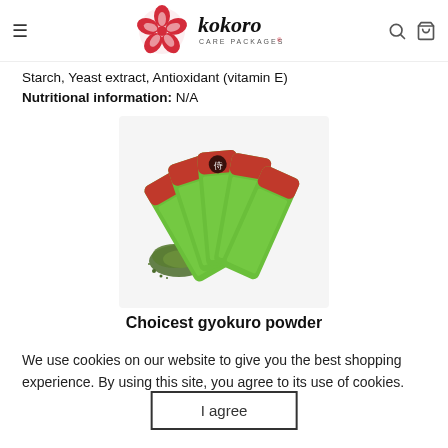Kokoro Care Packages [logo/navigation header]
Starch, Yeast extract, Antioxidant (vitamin E)
Nutritional information: N/A
[Figure (photo): Five green stick packets of choicest gyokuro powder fanned out, with loose green powder displayed in front on a white background.]
Choicest gyokuro powder
We use cookies on our website to give you the best shopping experience. By using this site, you agree to its use of cookies.
I agree